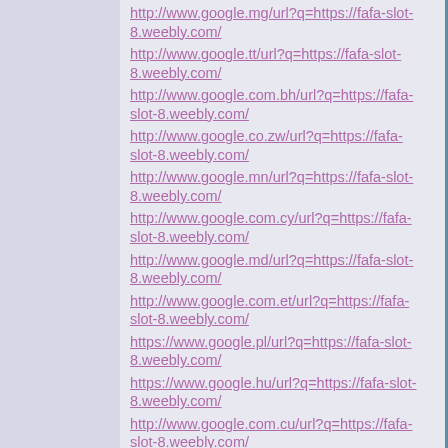http://www.google.mg/url?q=https://fafa-slot-8.weebly.com/
http://www.google.tt/url?q=https://fafa-slot-8.weebly.com/
http://www.google.com.bh/url?q=https://fafa-slot-8.weebly.com/
http://www.google.co.zw/url?q=https://fafa-slot-8.weebly.com/
http://www.google.mn/url?q=https://fafa-slot-8.weebly.com/
http://www.google.com.cy/url?q=https://fafa-slot-8.weebly.com/
http://www.google.md/url?q=https://fafa-slot-8.weebly.com/
http://www.google.com.et/url?q=https://fafa-slot-8.weebly.com/
https://www.google.pl/url?q=https://fafa-slot-8.weebly.com/
https://www.google.hu/url?q=https://fafa-slot-8.weebly.com/
http://www.google.com.cu/url?q=https://fafa-slot-8.weebly.com/
https://www.google.gr/url?q=https://fafa-slot-8.weebly.com/
https://www.google.ru/url?q=https://fafa-slot-8.weebly.com/
http://www.google.com.ly/url?q=https://fafa-slot-8.weebly.com/
http://www.google.gp/url?q=https://fafa-slot-